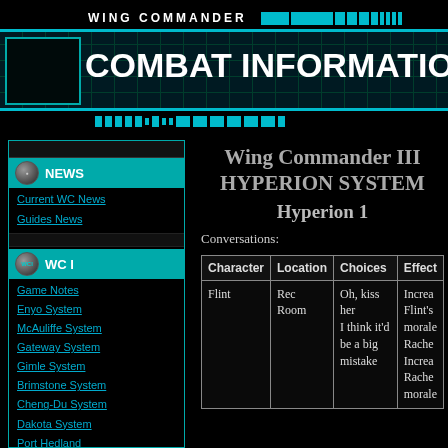WING COMMANDER — COMBAT INFORMATION CENTER
NEWS
Current WC News
Guides News
WC I
Game Notes
Enyo System
McAuliffe System
Gateway System
Gimle System
Brimstone System
Cheng-Du System
Dakota System
Port Hedland
Kurasawa System
Rostov System
Wing Commander III
HYPERION SYSTEM
Hyperion 1
Conversations:
| Character | Location | Choices | Effect |
| --- | --- | --- | --- |
| Flint | Rec Room | Oh, kiss her
I think it'd be a big mistake | Increases Flint's morale. Rachel Increases Rachel's morale |